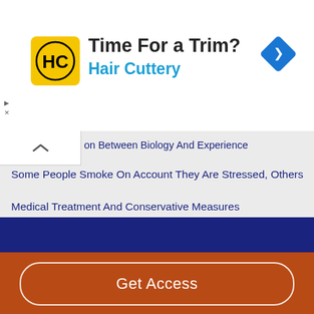[Figure (logo): Hair Cuttery advertisement with HC logo, 'Time For a Trim?' heading and blue 'Hair Cuttery' text, with a blue diamond navigation icon]
on Between Biology And Experience
Some People Smoke On Account They Are Stressed, Others
Medical Treatment And Conservative Measures
Aspects Of Myanmar Royal Architecture In Ancient Mandalay.
The Social Problems That Impact The Woman And Children
Laffey M. And Weldes J. 'Decolonizing The Cuban Missile
Get Access